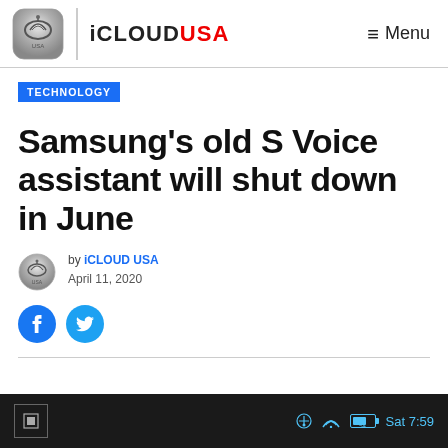iCLOUD USA — Menu
TECHNOLOGY
Samsung's old S Voice assistant will shut down in June
by iCLOUD USA
April 11, 2020
[Figure (screenshot): Bottom portion of a mobile device screenshot showing status bar with Bluetooth, WiFi, battery at 54%, and time Sat 7:59]